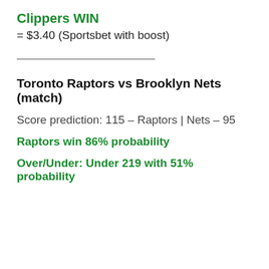Clippers WIN
= $3.40 (Sportsbet with boost)
Toronto Raptors vs Brooklyn Nets (match)
Score prediction:  115 – Raptors | Nets – 95
Raptors win 86% probability
Over/Under: Under 219 with 51% probability